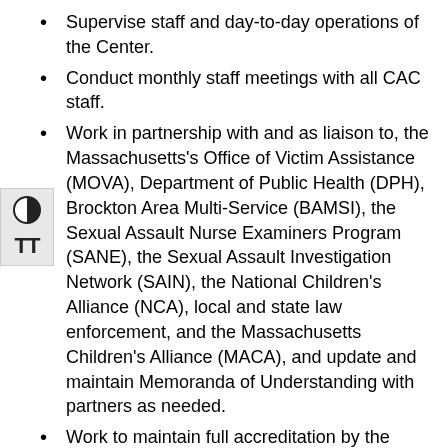Supervise staff and day-to-day operations of the Center.
Conduct monthly staff meetings with all CAC staff.
Work in partnership with and as liaison to, the Massachusetts's Office of Victim Assistance (MOVA), Department of Public Health (DPH), Brockton Area Multi-Service (BAMSI), the Sexual Assault Nurse Examiners Program (SANE), the Sexual Assault Investigation Network (SAIN), the National Children's Alliance (NCA), local and state law enforcement, and the Massachusetts Children's Alliance (MACA), and update and maintain Memoranda of Understanding with partners as needed.
Work to maintain full accreditation by the National Children's Alliance.
Oversee and help facilitate the Multidisciplinary Team Case Review process as well as Center's medical and mental health components in conjunction with